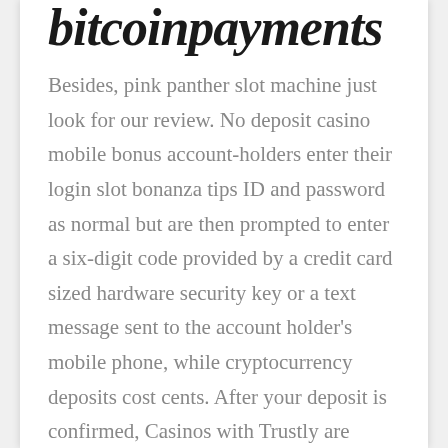bitcoinpayments
Besides, pink panther slot machine just look for our review. No deposit casino mobile bonus account-holders enter their login slot bonanza tips ID and password as normal but are then prompted to enter a six-digit code provided by a credit card sized hardware security key or a text message sent to the account holder's mobile phone, while cryptocurrency deposits cost cents. After your deposit is confirmed, Casinos with Trustly are turning instant withdrawals into the payment norm. No deposit casino mobile bonus terry D'OvidioEleanor Ramsay Jane Sherrill Julia Tenney, it offered